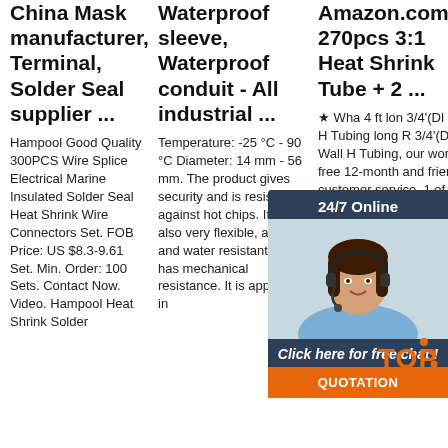China Mask manufacturer, Terminal, Solder Seal supplier ...
Waterproof sleeve, Waterproof conduit - All industrial ...
Amazon.com: 270pcs 3:1 Heat Shrink Tube + 2 ...
Hampool Good Quality 300PCS Wire Splice Electrical Marine Insulated Solder Seal Heat Shrink Wire Connectors Set. FOB Price: US $8.3-9.61 Set. Min. Order: 100 Sets. Contact Now. Video. Hampool Heat Shrink Solder
Temperature: -25 °C - 90 °C Diameter: 14 mm - 56 mm. The product gives security and is resistant against hot chips. It is also very flexible, air tight and water resistant and has mechanical resistance. It is applicable in
★ Wha 4 ft lon 3/4'(DI Wall H Tubing long R 3/4'(DI Wall H Tubing, our worry-free 12-month and friendly customer service. 1 of 270pcs 3:1 Dual Wall Adhesive Heat Shrink
[Figure (photo): Customer service representative chat widget with 24/7 Online label, woman with headset photo, 'Click here for free chat!' text, and QUOTATION button]
[Figure (logo): TOP badge with orange dots]